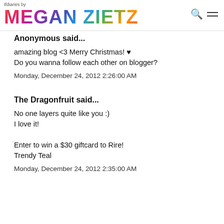tfdiaries by MEGAN ZIETZ
Anonymous said...
amazing blog <3 Merry Christmas! ♥
Do you wanna follow each other on blogger?
Monday, December 24, 2012 2:26:00 AM
The Dragonfruit said...
No one layers quite like you :)
I love it!

Enter to win a $30 giftcard to Rire!
Trendy Teal
Monday, December 24, 2012 2:35:00 AM